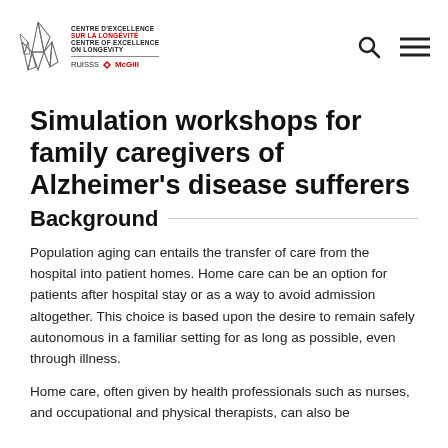[Figure (logo): Centre d'Excellence sur la Longévité / Centre of Excellence on Longevity, RUISSS McGill logo with stylized flame/leaf graphic]
Simulation workshops for family caregivers of Alzheimer's disease sufferers
Background
Population aging can entails the transfer of care from the hospital into patient homes. Home care can be an option for patients after hospital stay or as a way to avoid admission altogether. This choice is based upon the desire to remain safely autonomous in a familiar setting for as long as possible, even through illness.
Home care, often given by health professionals such as nurses, and occupational and physical therapists, can also be